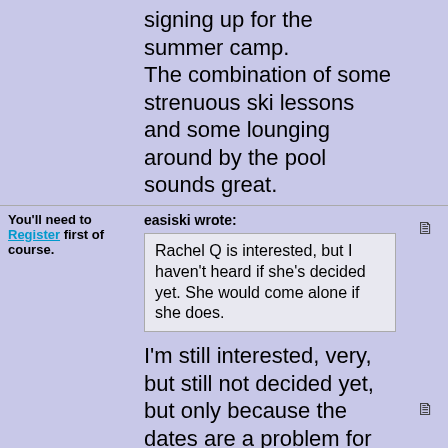signing up for the summer camp. The combination of some strenuous ski lessons and some lounging around by the pool sounds great.
You'll need to Register first of course.
easiski wrote:
Rachel Q is interested, but I haven't heard if she's decided yet. She would come alone if she does.
I'm still interested, very, but still not decided yet, but only because the dates are a problem for taking time off work. holidayloverxx, if it does work out, I'd be delighted to room share with you 🙂
Then you can post your own questions or snow reports...
RachelQ, 🙂 I'll check my dates on tuesday and let you know how I'm fixed, if it works out that woudl be great, if not then fingers crossed for another lone female on the trip
After all it is free 😄
I think if I could guarantee 4 hours a day with Rick I could well be in- at 2 hours I'm a bit ho-hum.